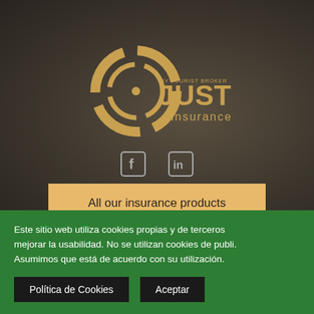[Figure (logo): Just Insurance by Tourist Broker logo — circular target/crosshair icon in golden/tan color with text 'JUST insurance' and 'by tourist broker' tagline]
[Figure (illustration): Social media icons: Facebook (f) and LinkedIn (in) in grey/white on dark background]
All our insurance products
Este sitio web utiliza cookies propias y de terceros mejorar la usabilidad. No se utilizan cookies de publi. Asumimos que está de acuerdo con su utilización.
Política de Cookies
Aceptar